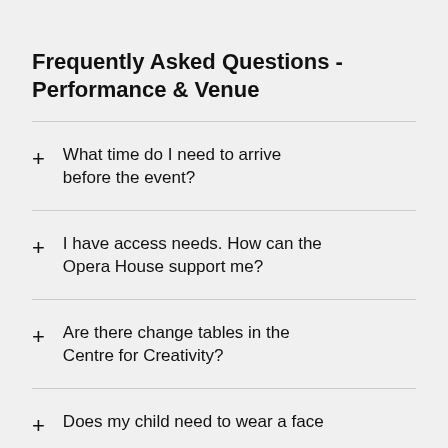Frequently Asked Questions - Performance & Venue
What time do I need to arrive before the event?
I have access needs. How can the Opera House support me?
Are there change tables in the Centre for Creativity?
Does my child need to wear a face